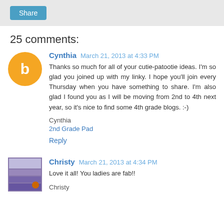Share
25 comments:
Cynthia March 21, 2013 at 4:33 PM
Thanks so much for all of your cutie-patootie ideas. I'm so glad you joined up with my linky. I hope you'll join every Thursday when you have something to share. I'm also glad I found you as I will be moving from 2nd to 4th next year, so it's nice to find some 4th grade blogs. :-)

Cynthia
2nd Grade Pad
Reply
Christy March 21, 2013 at 4:34 PM
Love it all! You ladies are fab!!

Christy